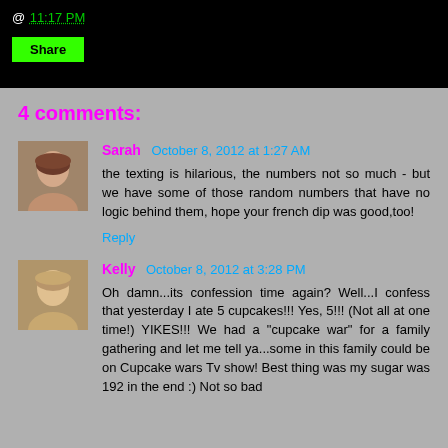@ 11:17 PM
Share
4 comments:
Sarah  October 8, 2012 at 1:27 AM
the texting is hilarious, the numbers not so much - but we have some of those random numbers that have no logic behind them, hope your french dip was good,too!
Reply
Kelly  October 8, 2012 at 3:28 PM
Oh damn...its confession time again? Well...I confess that yesterday I ate 5 cupcakes!!! Yes, 5!!! (Not all at one time!) YIKES!!! We had a "cupcake war" for a family gathering and let me tell ya...some in this family could be on Cupcake wars Tv show! Best thing was my sugar was 192 in the end :) Not so bad